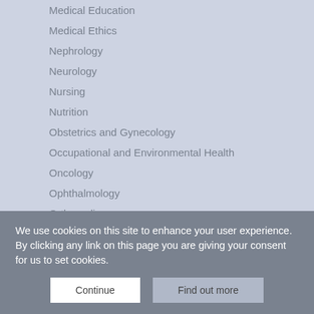Medical Education
Medical Ethics
Nephrology
Neurology
Nursing
Nutrition
Obstetrics and Gynecology
Occupational and Environmental Health
Oncology
Ophthalmology
Orthopedics
Otolaryngology
Pain Medicine
We use cookies on this site to enhance your user experience. By clicking any link on this page you are giving your consent for us to set cookies.
Continue
Find out more